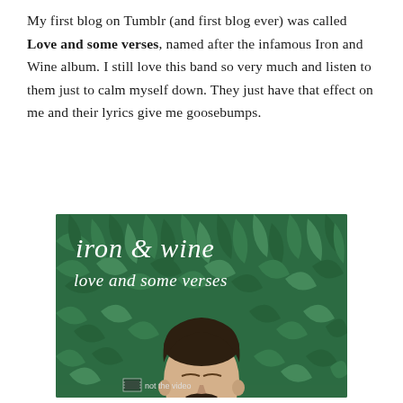My first blog on Tumblr (and first blog ever) was called Love and some verses, named after the infamous Iron and Wine album. I still love this band so very much and listen to them just to calm myself down. They just have that effect on me and their lyrics give me goosebumps.
[Figure (illustration): Album cover for Iron & Wine 'Love and Some Verses' — illustrated art showing a man's face with closed eyes surrounded by green leaf/foliage patterns, with white cursive text reading 'iron & wine love and some verses'. A small badge in bottom center reads 'not the video'.]